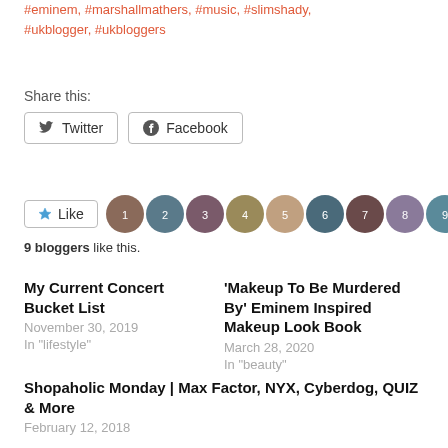#eminem, #marshallmathers, #music, #slimshady, #ukblogger, #ukbloggers
Share this:
[Figure (other): Twitter and Facebook share buttons]
[Figure (other): Like button with 9 blogger avatars]
9 bloggers like this.
My Current Concert Bucket List
November 30, 2019
In "lifestyle"
'Makeup To Be Murdered By' Eminem Inspired Makeup Look Book
March 28, 2020
In "beauty"
Shopaholic Monday | Max Factor, NYX, Cyberdog, QUIZ & More
February 12, 2018